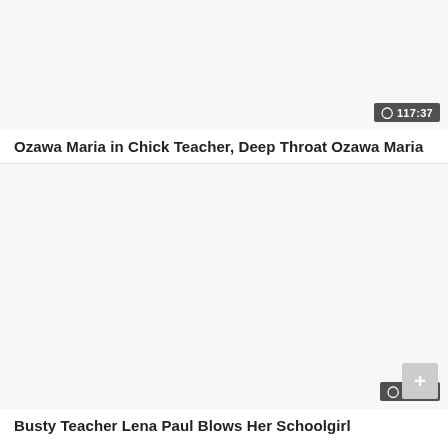[Figure (screenshot): Video thumbnail placeholder for first video card, light gray background]
117:37
Ozawa Maria in Chick Teacher, Deep Throat Ozawa Maria
[Figure (screenshot): Video thumbnail placeholder for second video card, light gray background]
06:01
Busty Teacher Lena Paul Blows Her Schoolgirl